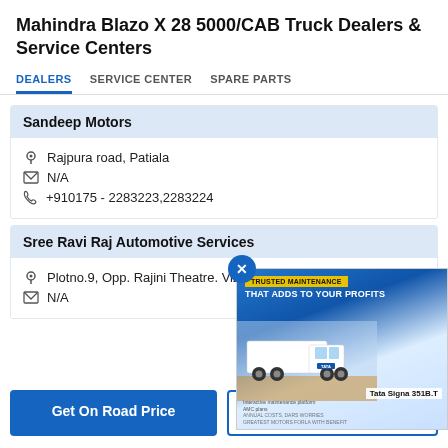Mahindra Blazo X 28 5000/CAB Truck Dealers & Service Centers
DEALERS   SERVICE CENTER   SPARE PARTS
Sandeep Motors
Rajpura road, Patiala
N/A
+910175 - 2283223,2283224
Sree Ravi Raj Automotive Services
Plotno.9, Opp. Rajini Theatre. Vizianaga…
N/A
[Figure (photo): Tata Signa 351B.T truck advertisement - white heavy truck on a work site with text 'Trusted Maintenance That Adds To Your Profits' and 'Tata Signa 351B.T']
Get On Road Price
Apply for Loan